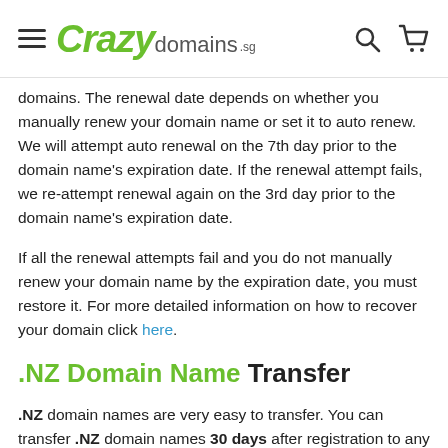Crazy domains .sg
domains. The renewal date depends on whether you manually renew your domain name or set it to auto renew. We will attempt auto renewal on the 7th day prior to the domain name's expiration date. If the renewal attempt fails, we re-attempt renewal again on the 3rd day prior to the domain name's expiration date.

If all the renewal attempts fail and you do not manually renew your domain name by the expiration date, you must restore it. For more detailed information on how to recover your domain click here.
.NZ Domain Name Transfer
.NZ domain names are very easy to transfer. You can transfer .NZ domain names 30 days after registration to any registrar. Transferring your domain name to Crazy Domains is a simple process using the domain transfer page. Domain name transfers do not affect your website or emails. Your services connected to this domain name will not be affected. To start a transfer select